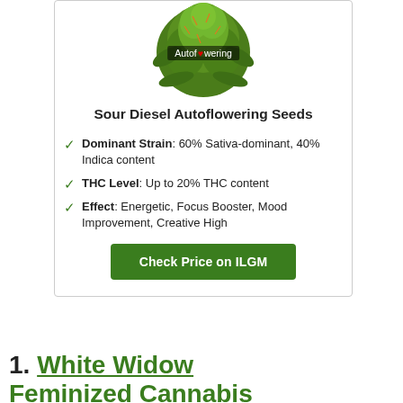[Figure (photo): Cannabis plant bud (green) with an 'Autoflowering' badge overlay in the center of the image]
Sour Diesel Autoflowering Seeds
Dominant Strain: 60% Sativa-dominant, 40% Indica content
THC Level: Up to 20% THC content
Effect: Energetic, Focus Booster, Mood Improvement, Creative High
Check Price on ILGM
1. White Widow Feminized Cannabis